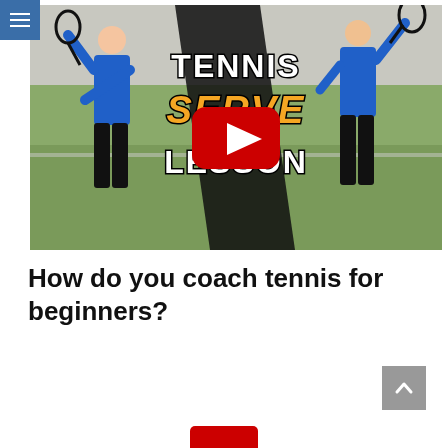Menu navigation
[Figure (screenshot): YouTube video thumbnail showing two tennis players in blue shirts on an indoor court, with text overlay 'TENNIS SERVE LESSON' and a YouTube play button in the center]
How do you coach tennis for beginners?